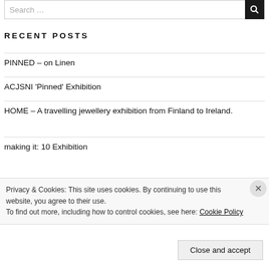RECENT POSTS
PINNED – on Linen
ACJSNI 'Pinned' Exhibition
HOME – A travelling jewellery exhibition from Finland to Ireland.
making it: 10 Exhibition
Privacy & Cookies: This site uses cookies. By continuing to use this website, you agree to their use.
To find out more, including how to control cookies, see here: Cookie Policy
Close and accept